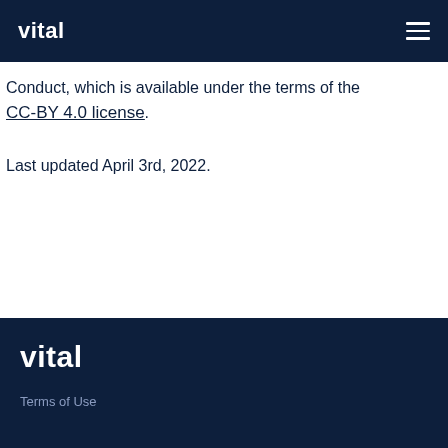vital
Conduct, which is available under the terms of the CC-BY 4.0 license.
Last updated April 3rd, 2022.
vital
Terms of Use